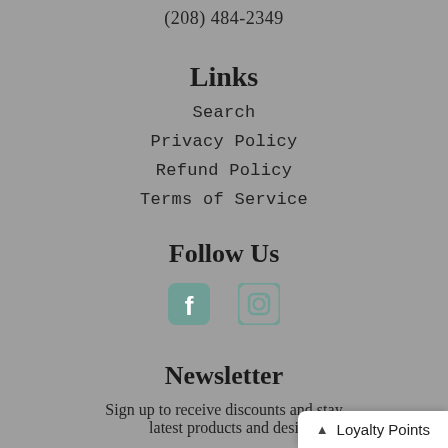(208) 484-2349
Links
Search
Privacy Policy
Refund Policy
Terms of Service
Follow Us
[Figure (illustration): Facebook and Instagram social media icons in teal/muted green color]
Newsletter
Sign up to receive discounts and stay latest products and desi
▲ Loyalty Points